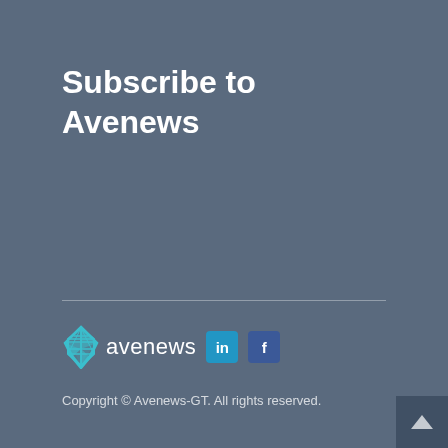Subscribe to Avenews
[Figure (logo): Avenews logo with cyan diamond grid icon and wordmark, LinkedIn and Facebook social media icons]
Copyright © Avenews-GT. All rights reserved.